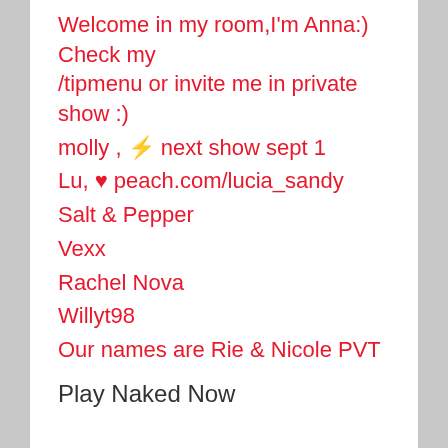Welcome in my room,I'm Anna:) Check my /tipmenu or invite me in private show :)
molly , ⚡ next show sept 1
Lu, ♥ peach.com/lucia_sandy
Salt & Pepper
Vexx
Rachel Nova
Willyt98
Our names are Rie & Nicole PVT is Open! Please Make Us CUM
♡, Violet and Kira♡
Play Naked Now